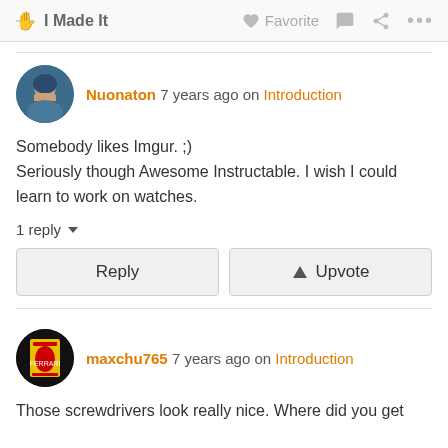🖐 I Made It   ♥ Favorite  💬  ⋯
Nuonaton 7 years ago on Introduction
Somebody likes Imgur. ;)
Seriously though Awesome Instructable. I wish I could learn to work on watches.
1 reply
Reply | Upvote
maxchu765 7 years ago on Introduction
Those screwdrivers look really nice. Where did you get